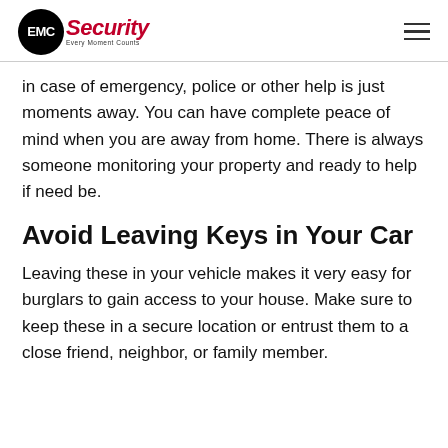EMC Security — Every Moment Counts
in case of emergency, police or other help is just moments away. You can have complete peace of mind when you are away from home. There is always someone monitoring your property and ready to help if need be.
Avoid Leaving Keys in Your Car
Leaving these in your vehicle makes it very easy for burglars to gain access to your house. Make sure to keep these in a secure location or entrust them to a close friend, neighbor, or family member.